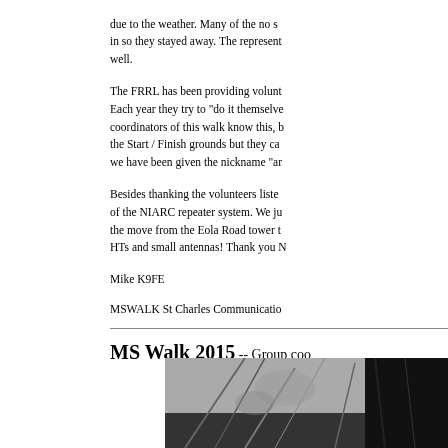due to the weather. Many of the no-sh in so they stayed away. The represent well.
The FRRL has been providing volunt Each year they try to "do it themselv coordinators of this walk know this, b the Start / Finish grounds but they ca we have been given the nickname "ar
Besides thanking the volunteers liste of the NIARC repeater system. We ju the move from the Eola Road tower t HTs and small antennas! Thank you N
Mike K9FE
MSWALK St Charles Communicatio
MS Walk 2015 -- Group coo
[Figure (photo): Photo of MS Walk 2015 event, showing what appears to be outdoor scene with people or path.]